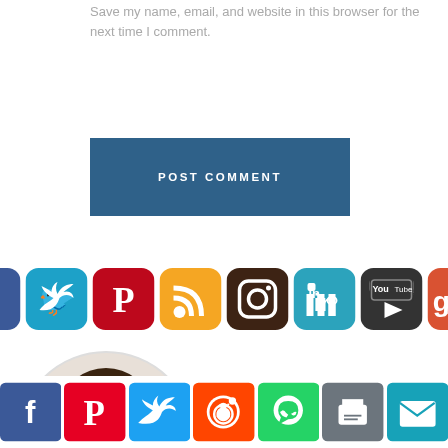Save my name, email, and website in this browser for the next time I comment.
POST COMMENT
[Figure (infographic): Row of 8 social media icons: Facebook (dark blue), Twitter (teal), Pinterest (red), RSS (orange), Instagram (dark), LinkedIn (teal), YouTube (dark), Google+ (orange-red), each in rounded square icons]
[Figure (photo): Circular profile photo of a smiling brunette woman, next to text 'WELCOME I'm Rachel' in purple/dark blue script]
[Figure (infographic): Social share button bar with icons for Facebook (blue), Pinterest (red), Twitter (blue), Reddit (orange), WhatsApp (green), print (gray), email (teal)]